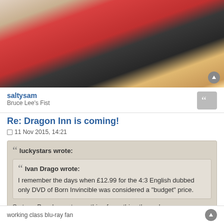[Figure (photo): Photo of people sitting together, including someone in a red jacket]
saltysam
Bruce Lee's Fist
Re: Dragon Inn is coming!
11 Nov 2015, 14:21
luckystars wrote:

Ivan Drago wrote:
I remember the days when £12.99 for the 4:3 English dubbed only DVD of Born Invincible was considered a "budget" price.

So true. People want everything for nothing these days
What do you base that statement on?
working class blu-ray fan